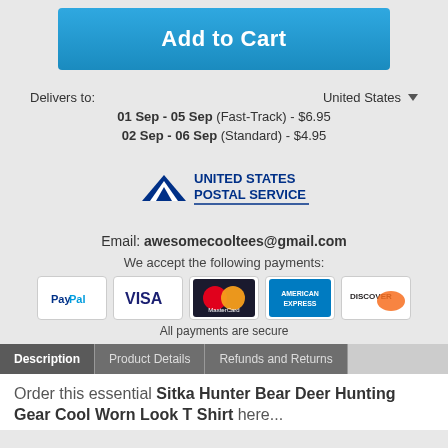Add to Cart
Delivers to:   United States
01 Sep - 05 Sep (Fast-Track) - $6.95
02 Sep - 06 Sep (Standard) - $4.95
[Figure (logo): United States Postal Service logo]
Email: awesomecooltees@gmail.com
We accept the following payments:
[Figure (logo): Payment icons: PayPal, Visa, MasterCard, American Express, Discover]
All payments are secure
Description | Product Details | Refunds and Returns
Order this essential Sitka Hunter Bear Deer Hunting Gear Cool Worn Look T Shirt here...